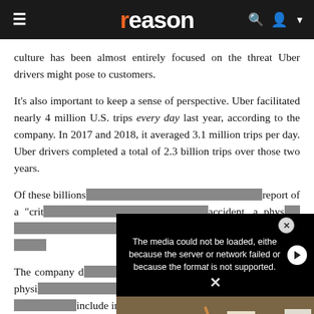reason
culture has been almost entirely focused on the threat Uber drivers might pose to customers.
It's also important to keep a sense of perspective. Uber facilitated nearly 4 million U.S. trips every day last year, according to the company. In 2017 and 2018, it averaged 3.1 million trips per day. Uber drivers completed a total of 2.3 billion trips over those two years.
Of these billions of trips, only 0.0003 percent included a report of a "crit... accident, a phys... of sexual assaul...
[Figure (screenshot): Video player overlay showing error message: 'The media could not be loaded, either because the server or network failed or because the format is not supported.' with a close button and play button. Behind the overlay is a partially visible protest scene with signs reading 'AMERICAN!' and other partially visible text.]
The company d... attempted physi... nature and without the consent of the user. This can include incidents within the passenger age of...